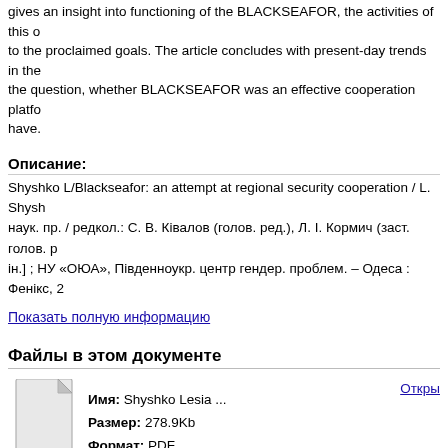gives an insight into functioning of the BLACKSEAFOR, the activities of this organization, its correspondence to the proclaimed goals. The article concludes with present-day trends in the functioning of BLACKSEAFOR and the question, whether BLACKSEAFOR was an effective cooperation platform or not and what results could have.
Описание:
Shyshko L/Blackseafor: an attempt at regional security cooperation / L. Shyshko // Актуальні проблеми політики : зб. наук. пр. / редкол.: С. В. Ківалов (голов. ред.), Л. І. Кормич (заст. голов. р [та ін.] ; НУ «ОЮА», Південноукр. центр гендер. проблем. – Одеса : Фенікс, 20
Показать полную информацию
Файлы в этом документе
[Figure (illustration): Generic document/file icon — white page with folded top-right corner, light gray background]
Имя: Shyshko Lesia ...
Размер: 278.9Kb
Формат: PDF
Данный элемент включен в следующие коллекции